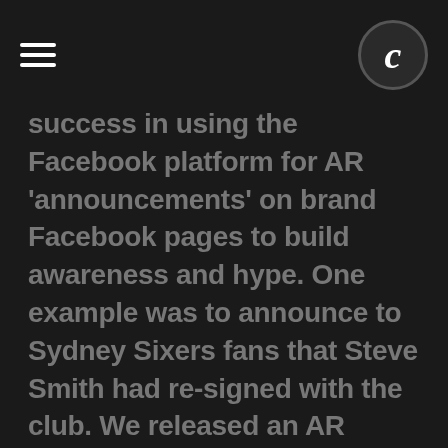≡  C
success in using the Facebook platform for AR 'announcements' on brand Facebook pages to build awareness and hype. One example was to announce to Sydney Sixers fans that Steve Smith had re-signed with the club. We released an AR model of the SCG with a giant screen above it showing real video and audio of Steve Smith personally telling his fans that he was back and ready to play.